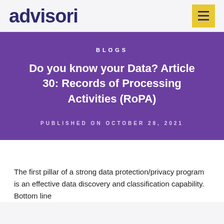advisori
BLOGS
Do you know your Data? Article 30: Records of Processing Activities (RoPA)
PUBLISHED ON OCTOBER 28, 2021
The first pillar of a strong data protection/privacy program is an effective data discovery and classification capability. Bottom line